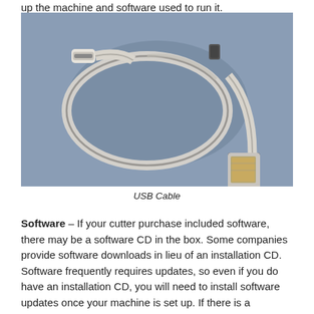up the machine and software used to run it.
[Figure (photo): A white USB cable coiled in a loop, with a USB Type-A connector on one end and a USB Type-B (or mini/micro) connector on the other, resting on a blue-grey surface.]
USB Cable
Software – If your cutter purchase included software, there may be a software CD in the box. Some companies provide software downloads in lieu of an installation CD. Software frequently requires updates, so even if you do have an installation CD, you will need to install software updates once your machine is set up. If there is a registration number in or on the CD packaging, be sure